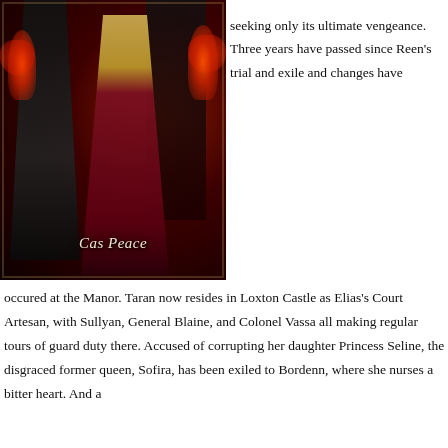[Figure (illustration): Book cover art for a fantasy novel by Cas Peace, showing a queen in dark red/maroon robes with gold dress beneath, flanked by a dark hooded figure, set against a dark throne room with fire bowls. Author name 'Cas Peace' in italic text at bottom of cover.]
seeking only its ultimate vengeance. Three years have passed since Reen's trial and exile and changes have occured at the Manor. Taran now resides in Loxton Castle as Elias's Court Artesan, with Sullyan, General Blaine, and Colonel Vassa all making regular tours of guard duty there. Accused of corrupting her daughter Princess Seline, the disgraced former queen, Sofira, has been exiled to Bordenn, where she nurses a bitter heart. And a